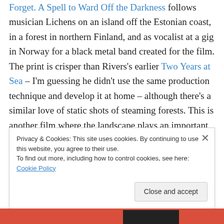Forget. A Spell to Ward Off the Darkness follows musician Lichens on an island off the Estonian coast, in a forest in northern Finland, and as vocalist at a gig in Norway for a black metal band created for the film. The print is crisper than Rivers's earlier Two Years at Sea – I'm guessing he didn't use the same production technique and develop it at home – although there's a similar love of static shots of steaming forests. This is another film where the landscape plays an important role, and I am a big fan of films that make effective use of landscape. I said in an earlier Moving pictures post that in a Rivers film plot was treated
Privacy & Cookies: This site uses cookies. By continuing to use this website, you agree to their use.
To find out more, including how to control cookies, see here: Cookie Policy